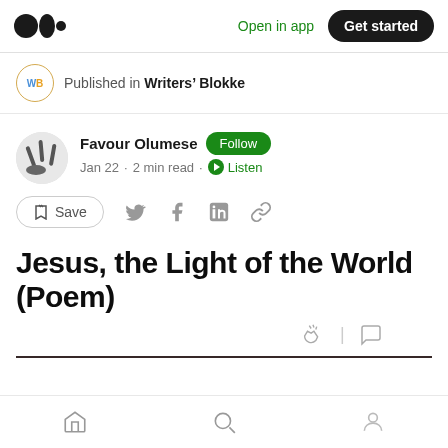Open in app | Get started
Published in Writers' Blokke
Favour Olumese · Follow · Jan 22 · 2 min read · Listen
Save
Jesus, the Light of the World (Poem)